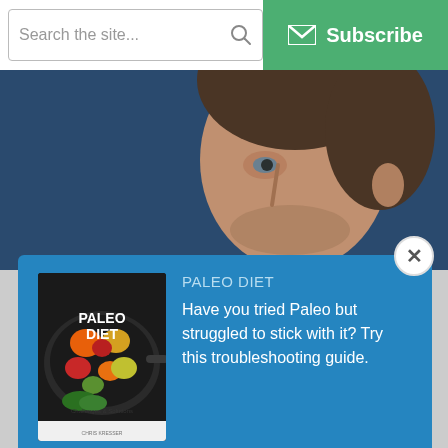[Figure (screenshot): Search bar with placeholder text 'Search the site...' and a magnifier icon]
[Figure (screenshot): Green Subscribe button with envelope icon]
[Figure (photo): Close-up photo of a man's face against a dark blue background, partially visible]
[Figure (photo): Book cover of 'Paleo Diet Challenges & Solutions' by Chris Kresser, showing a skillet with colorful vegetables]
PALEO DIET
Have you tried Paleo but struggled to stick with it? Try this troubleshooting guide.
[Figure (screenshot): Email input field with placeholder 'Your email address']
[Figure (screenshot): Green 'Download Now' button]